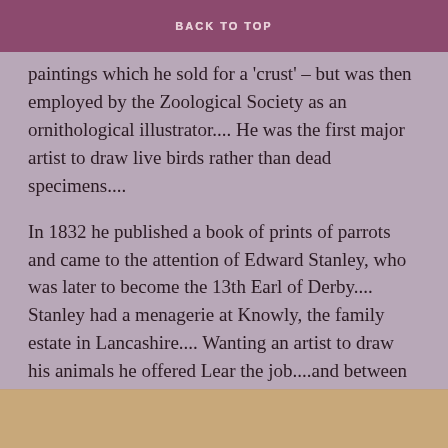BACK TO TOP
had received no formal education; just what Ann had taught him at home.... At first he produced drawings and paintings which he sold for a 'crust' – but was then employed by the Zoological Society as an ornithological illustrator.... He was the first major artist to draw live birds rather than dead specimens....
In 1832 he published a book of prints of parrots and came to the attention of Edward Stanley, who was later to become the 13th Earl of Derby.... Stanley had a menagerie at Knowly, the family estate in Lancashire.... Wanting an artist to draw his animals he offered Lear the job....and between 1832 and 1837 Lear lived and worked on and off at the estate....This provided him with many opportunities; he met many aristocrats who bought his paintings....and he made acquaintances with those within circles not usually open to the middle classes....
[Figure (photo): Partial view of an illustration or photograph at the bottom of the page, showing warm brownish tones]